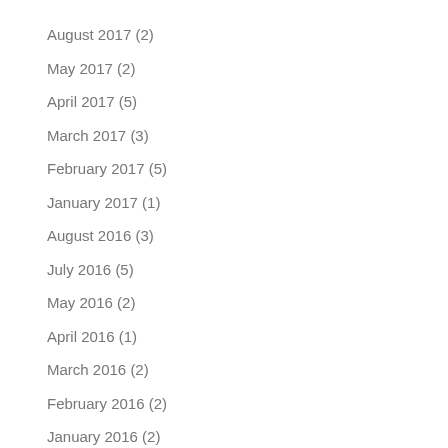August 2017 (2)
May 2017 (2)
April 2017 (5)
March 2017 (3)
February 2017 (5)
January 2017 (1)
August 2016 (3)
July 2016 (5)
May 2016 (2)
April 2016 (1)
March 2016 (2)
February 2016 (2)
January 2016 (2)
December 2015 (3)
November 2015 (1)